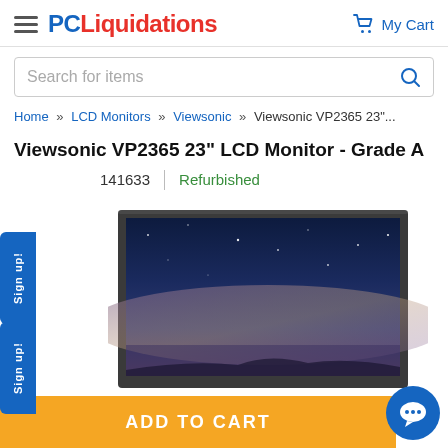PC Liquidations — My Cart
Search for items
Home » LCD Monitors » Viewsonic » Viewsonic VP2365 23"...
Viewsonic VP2365 23" LCD Monitor - Grade A
141633 | Refurbished
[Figure (photo): Viewsonic VP2365 23-inch LCD monitor product photo showing the monitor with a night sky/milky way wallpaper on screen]
ADD TO CART